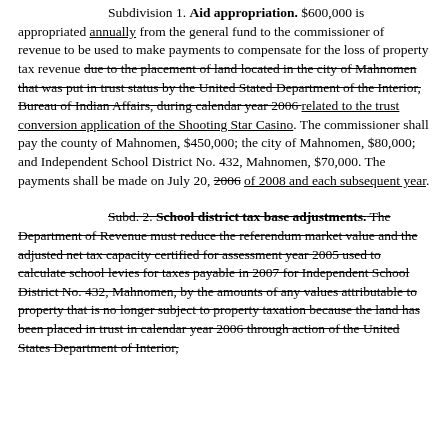Subdivision 1. Aid appropriation. $600,000 is appropriated annually from the general fund to the commissioner of revenue to be used to make payments to compensate for the loss of property tax revenue due to the placement of land located in the city of Mahnomen that was put in trust status by the United Stated Department of the Interior, Bureau of Indian Affairs, during calendar year 2006 related to the trust conversion application of the Shooting Star Casino. The commissioner shall pay the county of Mahnomen, $450,000; the city of Mahnomen, $80,000; and Independent School District No. 432, Mahnomen, $70,000. The payments shall be made on July 20, 2006 of 2008 and each subsequent year.
Subd. 2. School district tax base adjustments. The Department of Revenue must reduce the referendum market value and the adjusted net tax capacity certified for assessment year 2005 used to calculate school levies for taxes payable in 2007 for Independent School District No. 432, Mahnomen, by the amounts of any values attributable to property that is no longer subject to property taxation because the land has been placed in trust in calendar year 2006 through action of the United States Department of Interior,